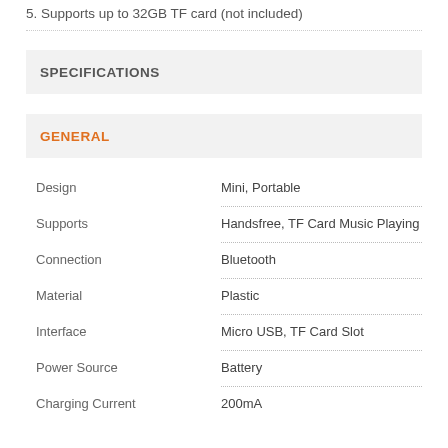5. Supports up to 32GB TF card (not included)
SPECIFICATIONS
GENERAL
|  |  |
| --- | --- |
| Design | Mini, Portable |
| Supports | Handsfree, TF Card Music Playing |
| Connection | Bluetooth |
| Material | Plastic |
| Interface | Micro USB, TF Card Slot |
| Power Source | Battery |
| Charging Current | 200mA |